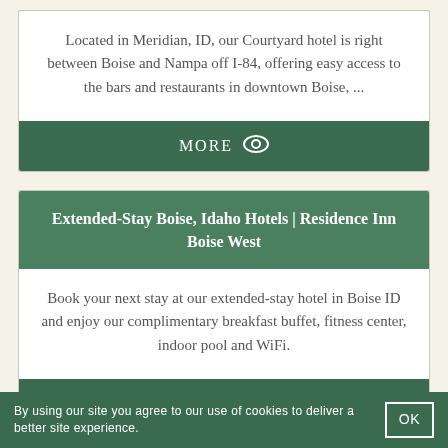Located in Meridian, ID, our Courtyard hotel is right between Boise and Nampa off I-84, offering easy access to the bars and restaurants in downtown Boise, ...
MORE
Extended-Stay Boise, Idaho Hotels | Residence Inn Boise West
Book your next stay at our extended-stay hotel in Boise ID and enjoy our complimentary breakfast buffet, fitness center, indoor pool and WiFi.
MORE
By using our site you agree to our use of cookies to deliver a better site experience.